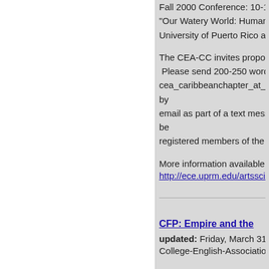Fall 2000 Conference: 10-11
"Our Watery World: Humans a
University of Puerto Rico at M
The CEA-CC invites proposals
Please send 200-250 word pr
cea_caribbeanchapter_at_hot
by
email as part of a text messa
be
registered members of the CE
More information available at
http://ece.uprm.edu/artsscie
CFP: Empire and the
updated: Friday, March 31, 2
College-English-Association C